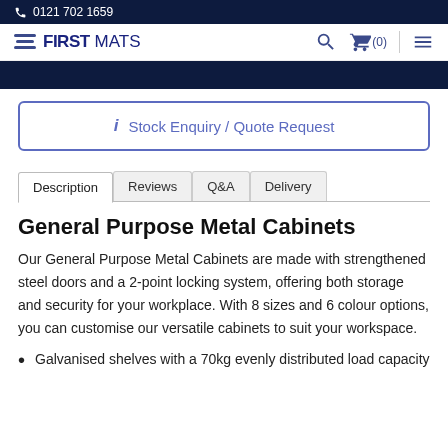0121 702 1659
[Figure (logo): First Mats logo with stacked layers icon]
Stock Enquiry / Quote Request
Description | Reviews | Q&A | Delivery
General Purpose Metal Cabinets
Our General Purpose Metal Cabinets are made with strengthened steel doors and a 2-point locking system, offering both storage and security for your workplace. With 8 sizes and 6 colour options, you can customise our versatile cabinets to suit your workspace.
Galvanised shelves with a 70kg evenly distributed load capacity